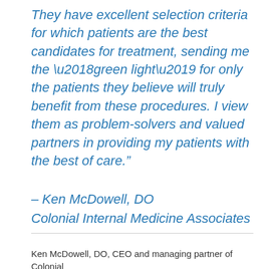They have excellent selection criteria for which patients are the best candidates for treatment, sending me the ‘green light’ for only the patients they believe will truly benefit from these procedures. I view them as problem-solvers and valued partners in providing my patients with the best of care.”
– Ken McDowell, DO
Colonial Internal Medicine Associates
Ken McDowell, DO, CEO and managing partner of Colonial